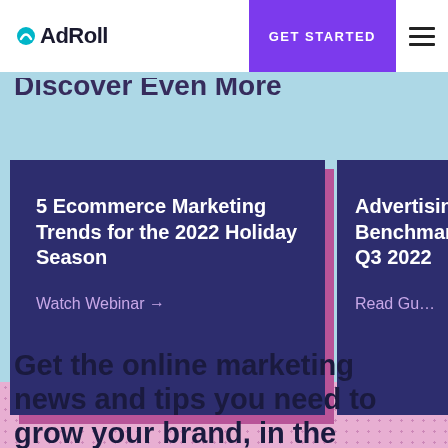AdRoll | GET STARTED
Discover Even More
5 Ecommerce Marketing Trends for the 2022 Holiday Season
Watch Webinar →
Advertising Benchmarks Q3 202...
Read Gu...
Get the online marketing news and tips you need to grow your brand, in the